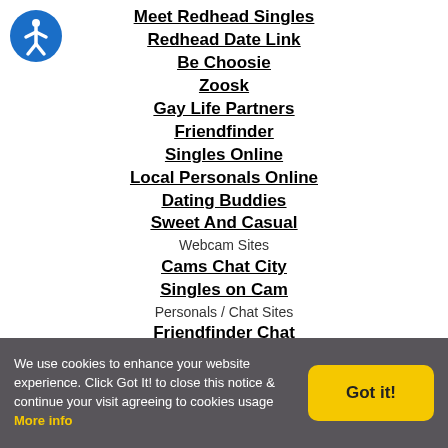[Figure (logo): Blue circle accessibility icon with person figure]
Meet Redhead Singles
Redhead Date Link
Be Choosie
Zoosk
Gay Life Partners
Friendfinder
Singles Online
Local Personals Online
Dating Buddies
Sweet And Casual
Webcam Sites
Cams Chat City
Singles on Cam
Personals / Chat Sites
Friendfinder Chat
Instant Messaging/VideoChat
Cams Chat City
Miscellaneous
The Onion
We use cookies to enhance your website experience. Click Got It! to close this notice & continue your visit agreeing to cookies usage More info